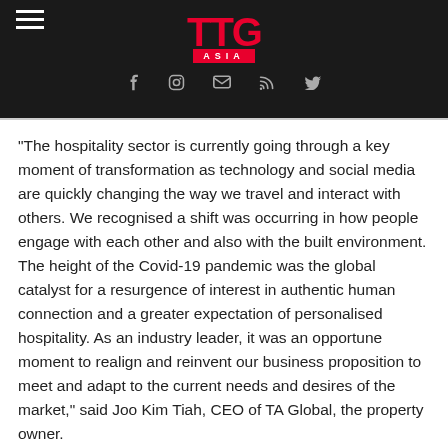TTG ASIA
“The hospitality sector is currently going through a key moment of transformation as technology and social media are quickly changing the way we travel and interact with others. We recognised a shift was occurring in how people engage with each other and also with the built environment. The height of the Covid-19 pandemic was the global catalyst for a resurgence of interest in authentic human connection and a greater expectation of personalised hospitality. As an industry leader, it was an opportune moment to realign and reinvent our business proposition to meet and adapt to the current needs and desires of the market,” said Joo Kim Tiah, CEO of TA Global, the property owner.
Paradox Singapore Merchant Court at Clarke Quay offers 476 spacious rooms, easy access to the Singapore River and the Central Business District, the award-winning Ellenborough Market Café, among others.
General manager Rainer Tenius remains at the helm of the